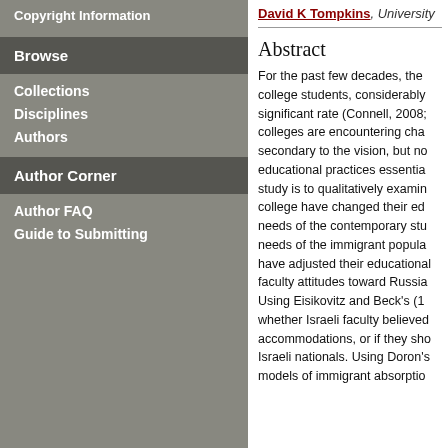Copyright Information
Browse
Collections
Disciplines
Authors
Author Corner
Author FAQ
Guide to Submitting
David K Tompkins, University
Abstract
For the past few decades, the college students, considerably significant rate (Connell, 2008; colleges are encountering cha secondary to the vision, but no educational practices essentia study is to qualitatively examin college have changed their ed needs of the contemporary stu needs of the immigrant popula have adjusted their educational faculty attitudes toward Russia Using Eisikovitz and Beck's (1 whether Israeli faculty believed accommodations, or if they sho Israeli nationals. Using Doron's models of immigrant absorptio